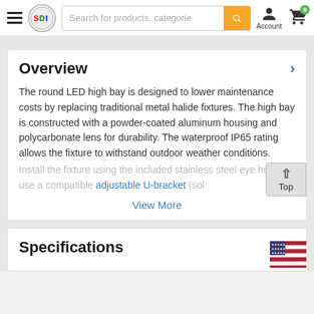Search for products, categories... [search bar] Account [cart: 0]
Overview
The round LED high bay is designed to lower maintenance costs by replacing traditional metal halide fixtures. The high bay is constructed with a powder-coated aluminum housing and polycarbonate lens for durability. The waterproof IP65 rating allows the fixture to withstand outdoor weather conditions. Install the fixture using the included stainless steel eye hook or use a compatible adjustable U-bracket (sol...
View More
Specifications